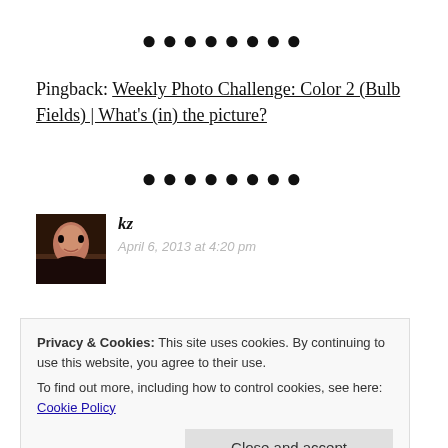••••••••
Pingback: Weekly Photo Challenge: Color 2 (Bulb Fields) | What's (in) the picture?
••••••••
[Figure (photo): Avatar photo of user kz]
kz
April 6, 2013 at 4:20 pm
Privacy & Cookies: This site uses cookies. By continuing to use this website, you agree to their use.
To find out more, including how to control cookies, see here: Cookie Policy
Close and accept
Reply